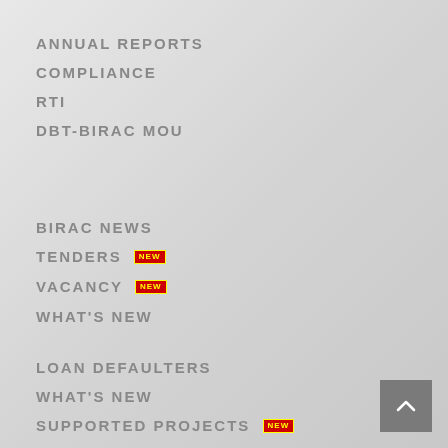ANNUAL REPORTS
COMPLIANCE
RTI
DBT-BIRAC MOU
BIRAC NEWS
TENDERS NEW
VACANCY NEW
WHAT'S NEW
LOAN DEFAULTERS
WHAT'S NEW
SUPPORTED PROJECTS NEW